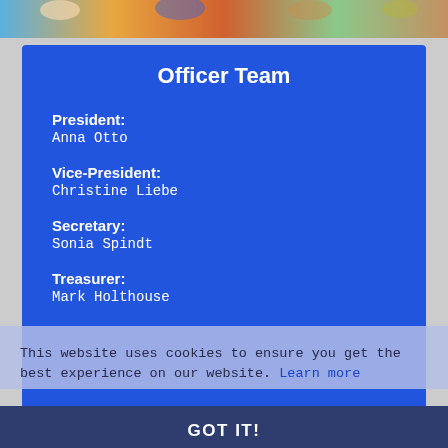[Figure (photo): Photo strip of people at the top of the page]
Officer Team
President:
Anna Otto
Vice-President:
Christine Liebe
Secretary:
Sonia Spindt
Treasurer:
Mark Holthouse
This website uses cookies to ensure you get the best experience on our website. Learn more
GOT IT!